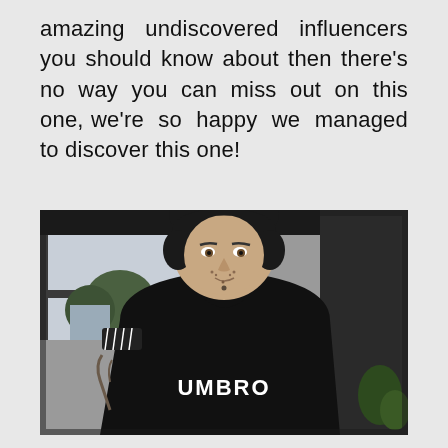amazing undiscovered influencers you should know about then there's no way you can miss out on this one, we're so happy we managed to discover this one!
[Figure (photo): A man with dark hair and facial stubble, wearing a black Umbro sports jersey with white collar trim and geometric sleeve pattern, with tattoos visible on his arm. He is photographed indoors with large windows visible in the background.]